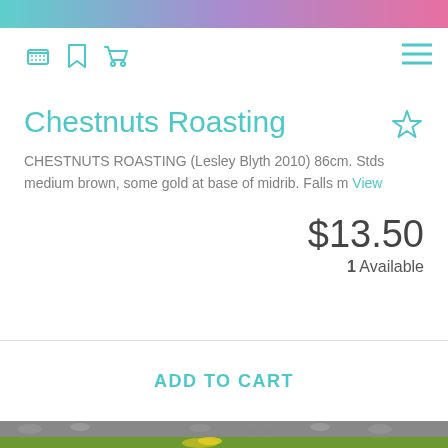Chestnuts Roasting
CHESTNUTS ROASTING (Lesley Blyth 2010) 86cm. Stds medium brown, some gold at base of midrib. Falls m View
$13.50
1 Available
ADD TO CART
[Figure (photo): Bottom portion of page showing a garden photo with gravel and yellow flower]